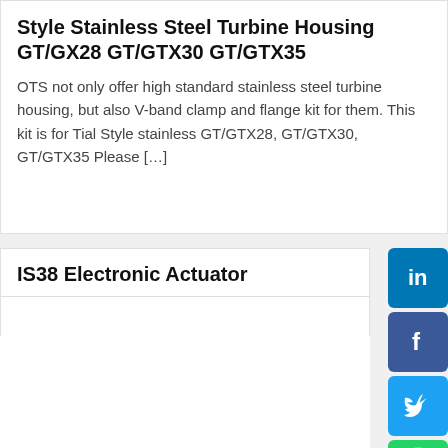Style Stainless Steel Turbine Housing GT/GX28 GT/GTX30 GT/GTX35
OTS not only offer high standard stainless steel turbine housing, but also V-band clamp and flange kit for them. This kit is for Tial Style stainless GT/GTX28, GT/GTX30, GT/GTX35 Please […]
IS38 Electronic Actuator
[Figure (photo): IS38 Electronic Actuator product photo showing a metallic electro-mechanical actuator with a cylindrical body and extending rod/shaft against a white background]